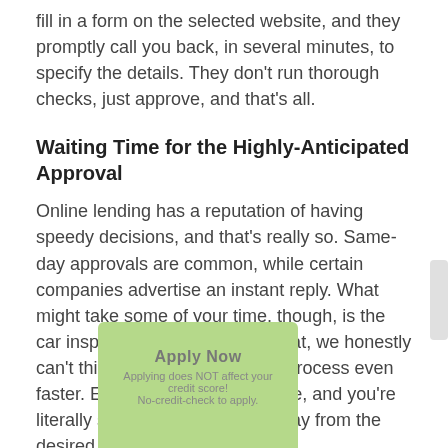fill in a form on the selected website, and they promptly call you back, in several minutes, to specify the details. They don't run thorough checks, just approve, and that's all.
Waiting Time for the Highly-Anticipated Approval
Online lending has a reputation of having speedy decisions, and that's really so. Same-day approvals are common, while certain companies advertise an instant reply. What might take some of your time, though, is the car inspection. But apart from that, we honestly can't think of ways to make the process even faster. Everything happens online, and you're literally several mouse clicks away from the desired cash.
How Many Fontanelle Installment Loans Do They Provide at a Time?
[Figure (other): Green 'Apply Now' button overlay with text 'Applying does NOT affect your credit score!' and 'No-credit-check to apply.']
One lender will supply you with one advance at a time. If more cash is needed, try different organizations or indicate